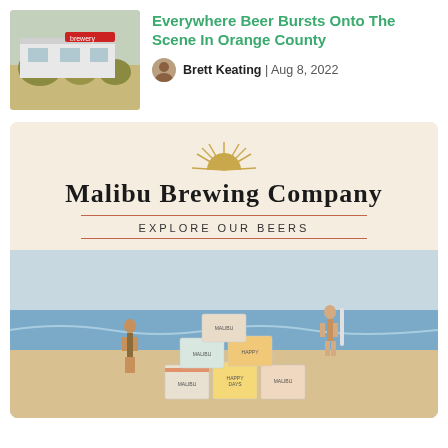[Figure (photo): Thumbnail photo of a building exterior with grassy dunes in foreground, red brand logo partially visible on roof.]
Everywhere Beer Bursts Onto The Scene In Orange County
Brett Keating | Aug 8, 2022
[Figure (advertisement): Malibu Brewing Company advertisement with sun logo, brand name in serif font, 'EXPLORE OUR BEERS' call to action, and beach photo showing stacked beer boxes on sand with people in background.]